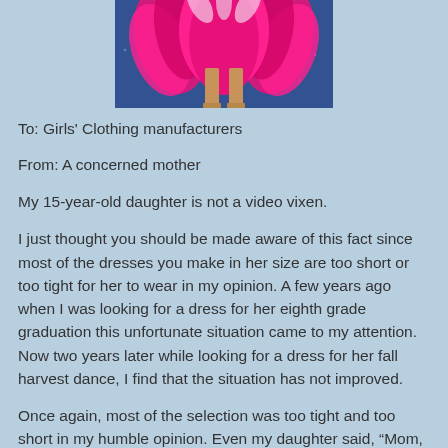[Figure (photo): Photo of a person in a pink feathered costume/dress with heels, standing in front of a blue sparkly background. Only the lower portion of the body is visible.]
To: Girls' Clothing manufacturers
From: A concerned mother
My 15-year-old daughter is not a video vixen.
I just thought you should be made aware of this fact since most of the dresses you make in her size are too short or too tight for her to wear in my opinion. A few years ago when I was looking for a dress for her eighth grade graduation this unfortunate situation came to my attention. Now two years later while looking for a dress for her fall harvest dance, I find that the situation has not improved.
Once again, most of the selection was too tight and too short in my humble opinion. Even my daughter said, “Mom, that’s